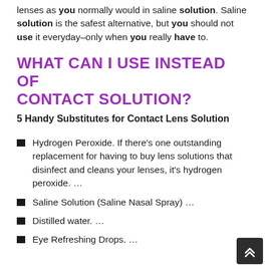lenses as you normally would in saline solution. Saline solution is the safest alternative, but you should not use it everyday–only when you really have to.
WHAT CAN I USE INSTEAD OF CONTACT SOLUTION?
5 Handy Substitutes for Contact Lens Solution
Hydrogen Peroxide. If there's one outstanding replacement for having to buy lens solutions that disinfect and cleans your lenses, it's hydrogen peroxide. …
Saline Solution (Saline Nasal Spray) …
Distilled water. …
Eye Refreshing Drops. …